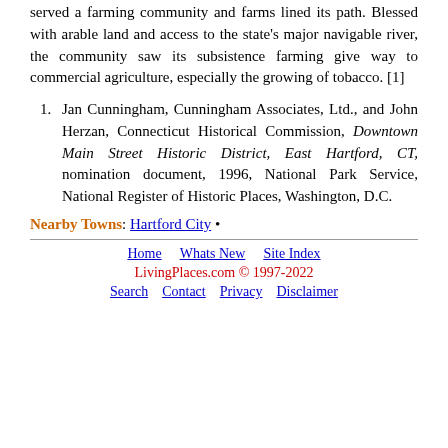served a farming community and farms lined its path. Blessed with arable land and access to the state's major navigable river, the community saw its subsistence farming give way to commercial agriculture, especially the growing of tobacco. [1]
Jan Cunningham, Cunningham Associates, Ltd., and John Herzan, Connecticut Historical Commission, Downtown Main Street Historic District, East Hartford, CT, nomination document, 1996, National Park Service, National Register of Historic Places, Washington, D.C.
Nearby Towns: Hartford City •
Home  Whats New  Site Index
LivingPlaces.com © 1997-2022
Search  Contact  Privacy  Disclaimer